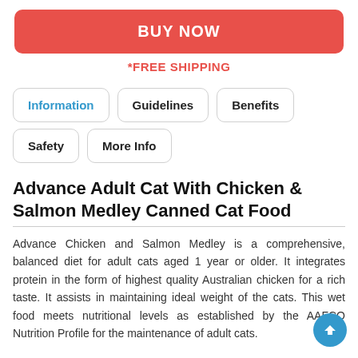BUY NOW
*FREE SHIPPING
Information
Guidelines
Benefits
Safety
More Info
Advance Adult Cat With Chicken & Salmon Medley Canned Cat Food
Advance Chicken and Salmon Medley is a comprehensive, balanced diet for adult cats aged 1 year or older. It integrates protein in the form of highest quality Australian chicken for a rich taste. It assists in maintaining ideal weight of the cats. This wet food meets nutritional levels as established by the AAFCO Nutrition Profile for the maintenance of adult cats.